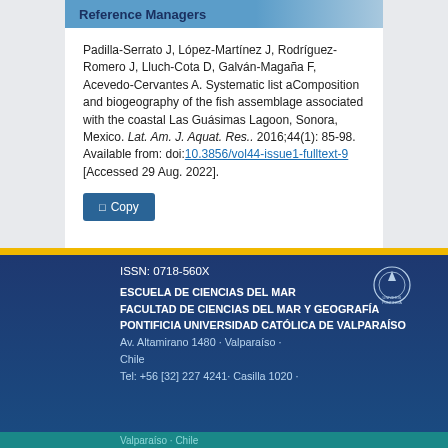Reference Managers
Padilla-Serrato J, López-Martínez J, Rodríguez-Romero J, Lluch-Cota D, Galván-Magaña F, Acevedo-Cervantes A. Systematic list aComposition and biogeography of the fish assemblage associated with the coastal Las Guásimas Lagoon, Sonora, Mexico. Lat. Am. J. Aquat. Res.. 2016;44(1): 85-98. Available from: doi:10.3856/vol44-issue1-fulltext-9 [Accessed 29 Aug. 2022].
ISSN: 0718-560X
ESCUELA DE CIENCIAS DEL MAR
FACULTAD DE CIENCIAS DEL MAR Y GEOGRAFÍA
PONTIFICIA UNIVERSIDAD CATÓLICA DE VALPARAÍSO
Av. Altamirano 1480 · Valparaíso · Chile
Tel: +56 [32] 227 4241· Casilla 1020 ·
Valparaíso · Chile